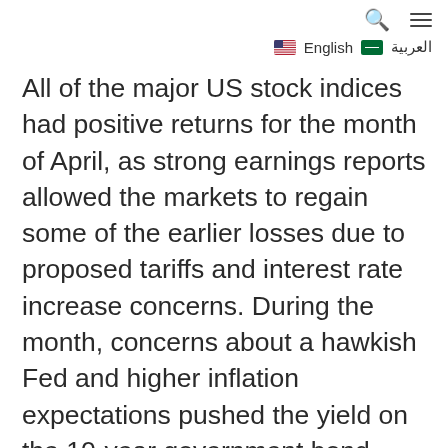🔍 ≡  🇺🇸 English 🇸🇦 العربية
All of the major US stock indices had positive returns for the month of April, as strong earnings reports allowed the markets to regain some of the earlier losses due to proposed tariffs and interest rate increase concerns. During the month, concerns about a hawkish Fed and higher inflation expectations pushed the yield on the 10-year government bond above 3% for the first time in... The month ended with the yield on the